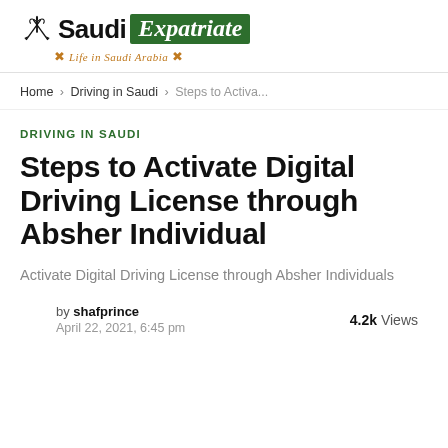[Figure (logo): Saudi Expatriate logo with palm tree and crossed swords icon, bold 'Saudi' text, green banner with italic 'Expatriate' text, and tagline 'Life in Saudi Arabia' in orange decorative script]
Home › Driving in Saudi › Steps to Activa...
DRIVING IN SAUDI
Steps to Activate Digital Driving License through Absher Individual
Activate Digital Driving License through Absher Individuals
by shafprince
April 22, 2021, 6:45 pm
4.2k Views